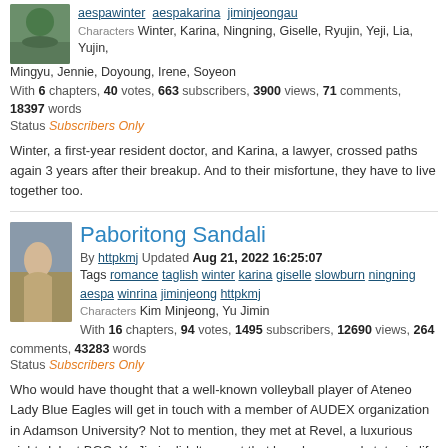aespawinter aespakarina jiminjeongau
Characters Winter, Karina, Ningning, Giselle, Ryujin, Yeji, Lia, Yujin, Mingyu, Jennie, Doyoung, Irene, Soyeon
With 6 chapters, 40 votes, 663 subscribers, 3900 views, 71 comments, 18397 words
Status Subscribers Only
Winter, a first-year resident doctor, and Karina, a lawyer, crossed paths again 3 years after their breakup. And to their misfortune, they have to live together too.
Paboritong Sandali
By httpkmj Updated Aug 21, 2022 16:25:07
Tags romance taglish winter karina giselle slowburn ningning aespa winrina jiminjeong httpkmj
Characters Kim Minjeong, Yu Jimin
With 16 chapters, 94 votes, 1495 subscribers, 12690 views, 264 comments, 43283 words
Status Subscribers Only
Who would have thought that a well-known volleyball player of Ateneo Lady Blue Eagles will get in touch with a member of AUDEX organization in Adamson University? Not to mention, they met at Revel, a luxurious night club at BGC. Yu Jimin didn't expect that her charms and status in life won't work with the pretty handsome woman and.. very cold Minjeong 'Winter' Kim.